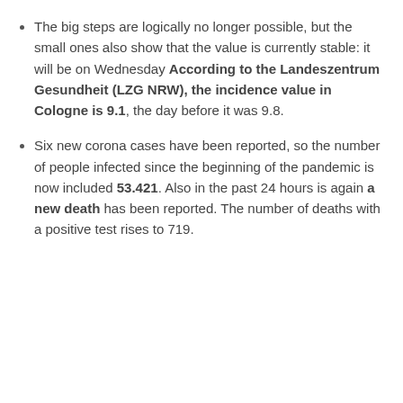The big steps are logically no longer possible, but the small ones also show that the value is currently stable: it will be on Wednesday According to the Landeszentrum Gesundheit (LZG NRW), the incidence value in Cologne is 9.1, the day before it was 9.8.
Six new corona cases have been reported, so the number of people infected since the beginning of the pandemic is now included 53.421. Also in the past 24 hours is again a new death has been reported. The number of deaths with a positive test rises to 719.